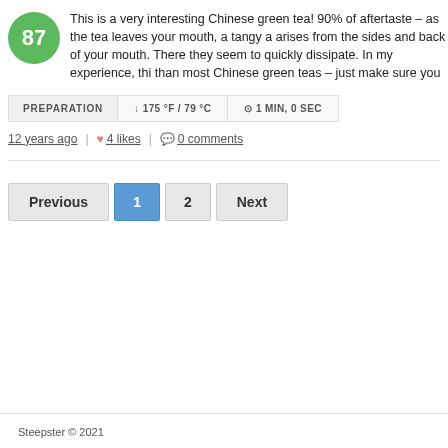[Figure (other): Green circular score badge showing the number 87]
This is a very interesting Chinese green tea! 90% of aftertaste – as the tea leaves your mouth, a tangy a arises from the sides and back of your mouth. There they seem to quickly dissipate. In my experience, thi than most Chinese green teas – just make sure you
PREPARATION  ↓ 175 °F / 79 °C  ⊙ 1 MIN, 0 SEC
12 years ago  |  ♥ 4 likes  |  ● 0 comments
Previous  1  2  Next
Steepster © 2021